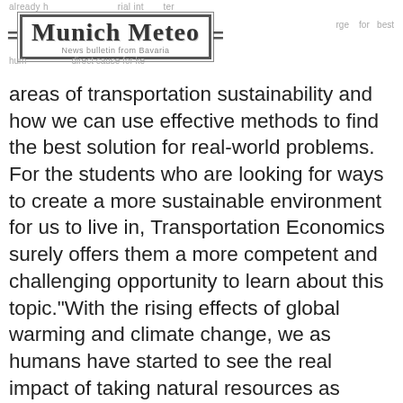Munich Meteo – News bulletin from Bavaria
areas of transportation sustainability and how we can use effective methods to find the best solution for real-world problems. For the students who are looking for ways to create a more sustainable environment for us to live in, Transportation Economics surely offers them a more competent and challenging opportunity to learn about this topic."With the rising effects of global warming and climate change, we as humans have started to see the real impact of taking natural resources as given. It is clear from the countless energy modeling exercises that addressing the severe challenges posed by climate change will need the contribution of all the industries, including the mobility sector which contributes roughly 15 percent of all carbon emissions worldwide. Without the essential